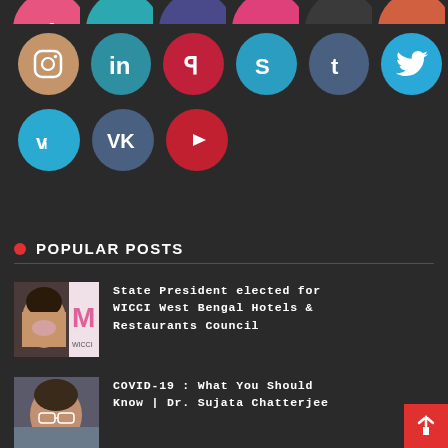[Figure (infographic): Social media icon circles in rows: Row 1 partial (pink, teal, indigo, hotpink, dark, tomato). Row 2: Instagram (tan), LinkedIn (teal), Pinterest (red), Skype (blue), Tumblr (slate), Twitter (sky blue). Row 3: Vimeo (blue), VK (slate), YouTube (red).]
POPULAR POSTS
State President elected for WICCI West Bengal Hotels & Restaurants Council
COVID-19 : What You Should Know | Dr. Sujata Chatterjee
Amar Prem, cover issues like wider marriage and home...